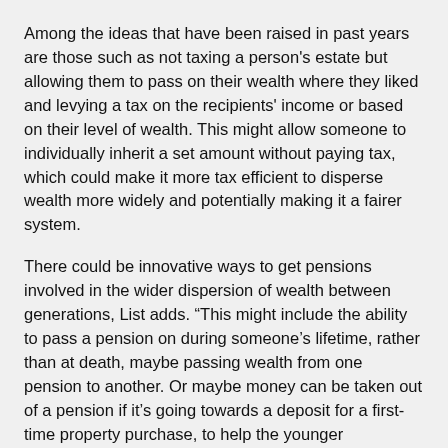Among the ideas that have been raised in past years are those such as not taxing a person's estate but allowing them to pass on their wealth where they liked and levying a tax on the recipients' income or based on their level of wealth. This might allow someone to individually inherit a set amount without paying tax, which could make it more tax efficient to disperse wealth more widely and potentially making it a fairer system.
There could be innovative ways to get pensions involved in the wider dispersion of wealth between generations, List adds. “This might include the ability to pass a pension on during someone's lifetime, rather than at death, maybe passing wealth from one pension to another. Or maybe money can be taken out of a pension if it’s going towards a deposit for a first-time property purchase, to help the younger generation buy their first home. There will be repercussions and knock-on effects to think about with anything that is introduced, but there is a lot more discussion around this subject now.
“It’s very much a concern of the time with the burden...